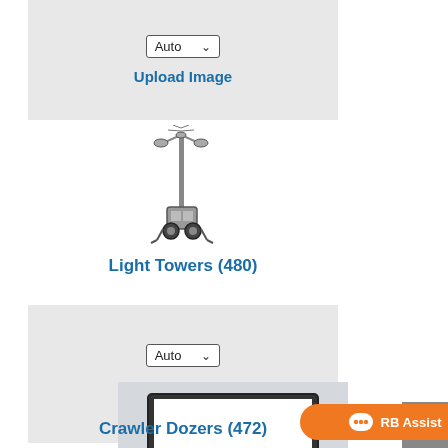[Figure (screenshot): Gray card with Auto dropdown selector and Upload Image link]
Upload Image
[Figure (photo): Light tower equipment illustration on white background]
Light Towers (480)
[Figure (screenshot): Gray card with Auto dropdown selector and Upload Image link]
Upload Image
[Figure (photo): Monitor/screen image representing Crawler Dozers category on light background]
Crawler Dozers (472)
[Figure (other): RB Assist orange chat button in bottom right area]